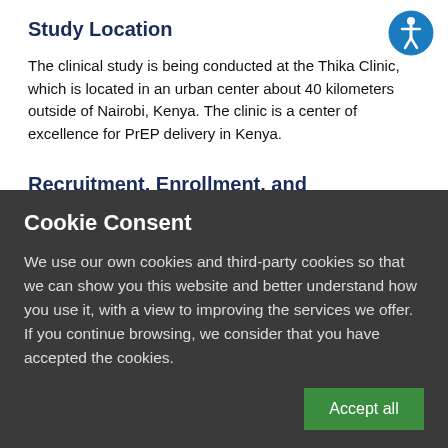Study Location
The clinical study is being conducted at the Thika Clinic, which is located in an urban center about 40 kilometers outside of Nairobi, Kenya. The clinic is a center of excellence for PrEP delivery in Kenya.
Recruitment, Enrollment, and Randomization
The Thika Clinic has established local recruitment and screening methods that operationalize protocol-specified requirements for
[Figure (other): Accessibility icon — circular blue button with white wheelchair/person symbol]
Cookie Consent
We use our own cookies and third-party cookies so that we can show you this website and better understand how you use it, with a view to improving the services we offer. If you continue browsing, we consider that you have accepted the cookies.
Accept all